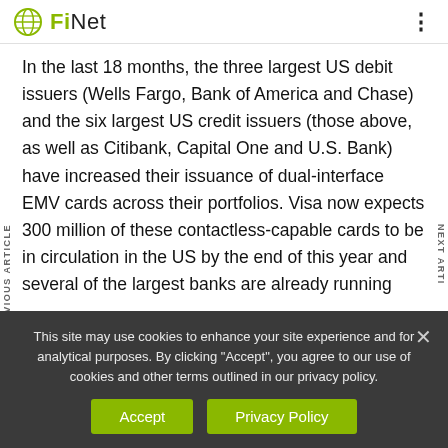FiNet
In the last 18 months, the three largest US debit issuers (Wells Fargo, Bank of America and Chase) and the six largest US credit issuers (those above, as well as Citibank, Capital One and U.S. Bank) have increased their issuance of dual-interface EMV cards across their portfolios. Visa now expects 300 million of these contactless-capable cards to be in circulation in the US by the end of this year and several of the largest banks are already running
This site may use cookies to enhance your site experience and for analytical purposes. By clicking "Accept", you agree to our use of cookies and other terms outlined in our privacy policy.